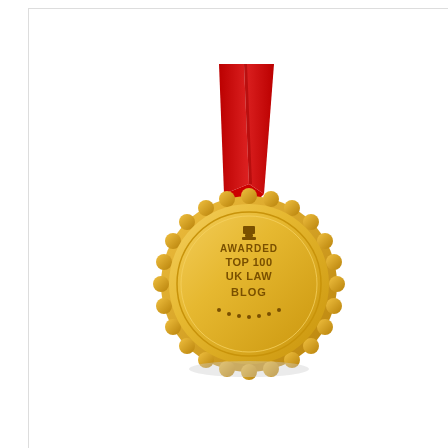[Figure (illustration): Gold medal with red ribbon awarded 'Top 100 UK Law Blog']
Discri... the Eq... or ind... sex, r... justific... and i... Regul... the pr...
Seldo... manda... defaul... was n... in a la... assoc... long-te... perfor...